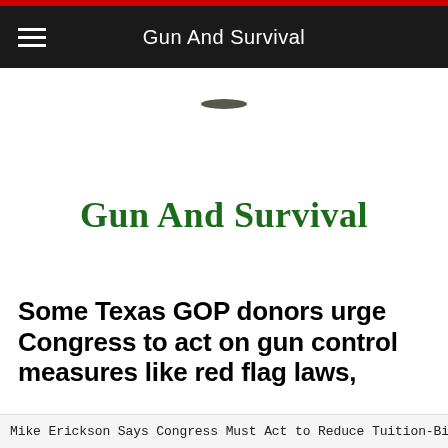Gun And Survival
[Figure (logo): Small oval-shaped logo icon, possibly a gun or leaf silhouette]
Gun And Survival
Some Texas GOP donors urge Congress to act on gun control measures like red flag laws,
Mike Erickson Says Congress Must Act to Reduce Tuition-Biden'